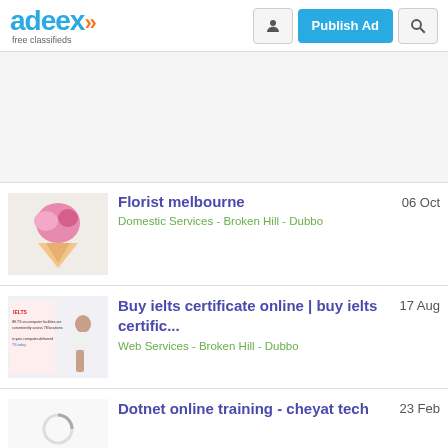[Figure (logo): Adeex free classifieds logo with blue text and orange chevrons]
[Figure (screenshot): Navigation buttons: user icon, Publish Ad button, search icon]
[Figure (photo): Advertisement banner area (gray empty space)]
[Figure (photo): Florist melbourne listing thumbnail showing flowers in a cone]
Florist melbourne
Domestic Services - Broken Hill - Dubbo
06 Oct
[Figure (photo): Buy ielts certificate online listing thumbnail with woman and IELTS text]
Buy ielts certificate online | buy ielts certific...
Web Services - Broken Hill - Dubbo
17 Aug
[Figure (photo): Dotnet online training listing thumbnail]
Dotnet online training - cheyat tech
23 Feb